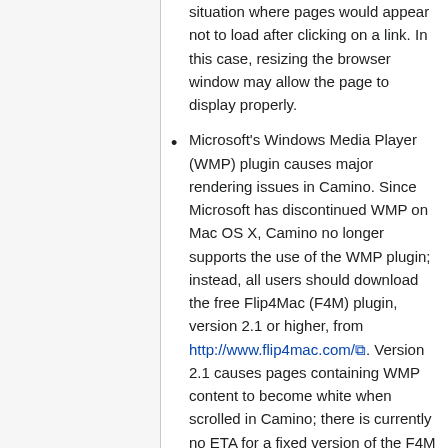situation where pages would appear not to load after clicking on a link. In this case, resizing the browser window may allow the page to display properly.
Microsoft's Windows Media Player (WMP) plugin causes major rendering issues in Camino. Since Microsoft has discontinued WMP on Mac OS X, Camino no longer supports the use of the WMP plugin; instead, all users should download the free Flip4Mac (F4M) plugin, version 2.1 or higher, from http://www.flip4mac.com/. Version 2.1 causes pages containing WMP content to become white when scrolled in Camino; there is currently no ETA for a fixed version of the F4M plugin.